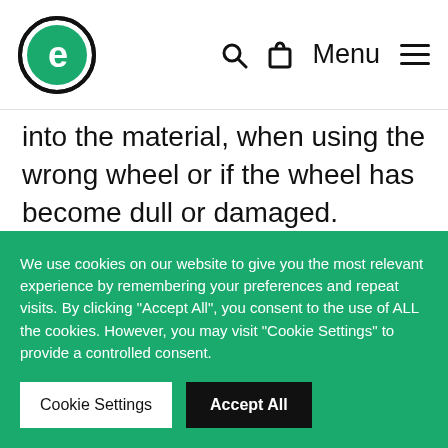e [logo] — Search, Cart, Menu
into the material, when using the wrong wheel or if the wheel has become dull or damaged.
Safety Tip:
Make sure you do not push the grinder too hard and ensure you are using the right disc for the material you are cutting as well as for the grinder...
We use cookies on our website to give you the most relevant experience by remembering your preferences and repeat visits. By clicking "Accept All", you consent to the use of ALL the cookies. However, you may visit "Cookie Settings" to provide a controlled consent.